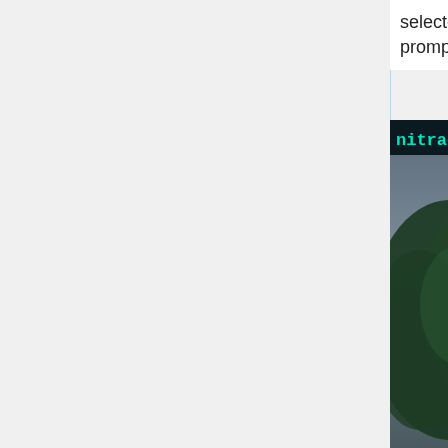selected server and will be prompted for a place to spawn.
[Figure (screenshot): Game screenshot showing 'nitrado.net Gameserver - (...)' title bar at top in cyan text on dark background, with a spawning/selection UI panel overlaid on a forest scene. The UI panel shows numbers 10, 20, 30, 40 in cyan text on a dark teal semi-transparent background with hexagonal decorative elements.]